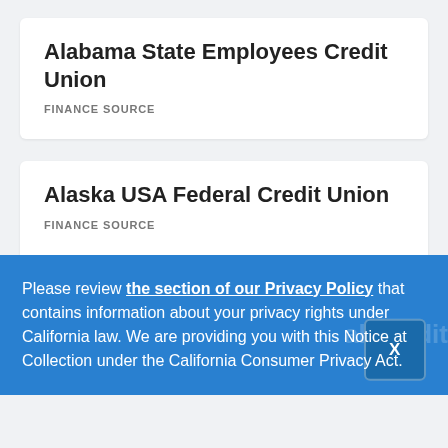Alabama State Employees Credit Union
FINANCE SOURCE
Alaska USA Federal Credit Union
FINANCE SOURCE
Please review the section of our Privacy Policy that contains information about your privacy rights under California law. We are providing you with this Notice at Collection under the California Consumer Privacy Act.